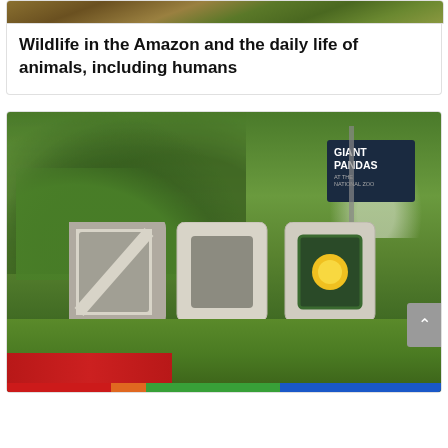[Figure (photo): Partial top view of tropical foliage / Amazon wildlife scene, cropped at top of page]
Wildlife in the Amazon and the daily life of animals, including humans
[Figure (photo): Zoo sign with large concrete ZOO letters, Giant Pandas sign in background, lush green tropical vegetation, red flowers in foreground. Appears to be the National Zoo.]